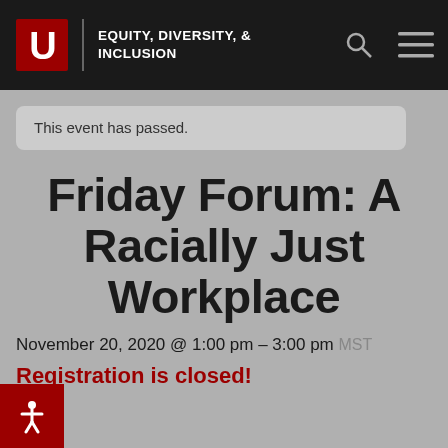EQUITY, DIVERSITY, & INCLUSION
This event has passed.
Friday Forum: A Racially Just Workplace
November 20, 2020 @ 1:00 pm – 3:00 pm MST
Registration is closed!